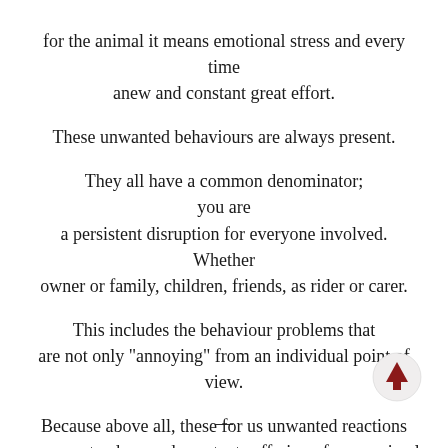for the animal it means emotional stress and every time anew and constant great effort.
These unwanted behaviours are always present.
They all have a common denominator; you are a persistent disruption for everyone involved. Whether owner or family, children, friends, as rider or carer.
This includes the behaviour problems that are not only "annoying" from an individual point of view.
Because above all, these for us unwanted reactions represent a deep and constant suffering of your animal and pet.
—